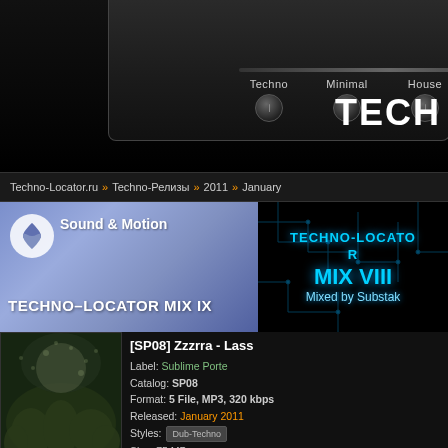[Figure (screenshot): Dark DJ equipment interface header with four knobs labeled Techno, Minimal, House, Dub, and large white TECH text on the right]
Techno-Locator.ru » Techno-Релизы » 2011 » January
[Figure (screenshot): Banner: Sound & Motion TECHNO-LOCATOR MIX IX on the left with purple/blue gradient, TECHNO-LOCATOR MIX VIII Mixed by Substak on the right with dark circuit board background]
[Figure (photo): Album art showing dark trees against a night sky]
[SP08] Zzzrra - Lass
Label: Sublime Porte
Catalog: SP08
Format: 5 File, MP3, 320 kbps
Released: January 2011
Styles: Dub-Techno
Size: 75 MB

Tracklist: